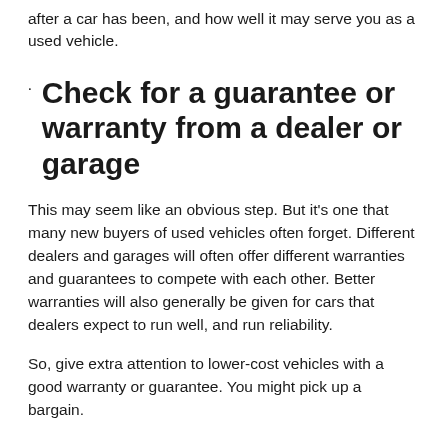after a car has been, and how well it may serve you as a used vehicle.
Check for a guarantee or warranty from a dealer or garage
This may seem like an obvious step. But it’s one that many new buyers of used vehicles often forget. Different dealers and garages will often offer different warranties and guarantees to compete with each other. Better warranties will also generally be given for cars that dealers expect to run well, and run reliability.
So, give extra attention to lower-cost vehicles with a good warranty or guarantee. You might pick up a bargain.